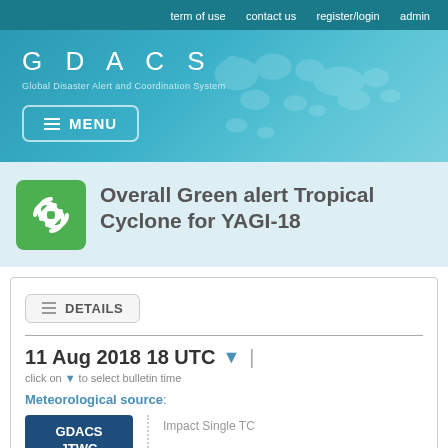term of use   contact us   register/login   admin
[Figure (logo): GDACS logo with world map background. Text: GDACS, Global Disaster Alert and Coordination System]
MENU
Overall Green alert Tropical Cyclone for YAGI-18
DETAILS
11 Aug 2018 18 UTC
click on ▾ to select bulletin time
Meteorological source:
GDACS JTWC
Impact Single TC